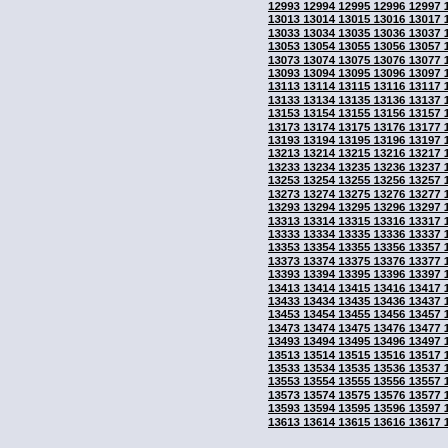12993 12994 12995 12996 12997 12998 12999 13000 13001 13013 13014 13015 13016 13017 13018 13019 13020 13021 13033 13034 13035 13036 13037 13038 13039 13040 13041 13053 13054 13055 13056 13057 13058 13059 13060 13061 13073 13074 13075 13076 13077 13078 13079 13080 13081 13093 13094 13095 13096 13097 13098 13099 13100 13101 13113 13114 13115 13116 13117 13118 13119 13120 13121 13133 13134 13135 13136 13137 13138 13139 13140 13141 13153 13154 13155 13156 13157 13158 13159 13160 13161 13173 13174 13175 13176 13177 13178 13179 13180 13181 13193 13194 13195 13196 13197 13198 13199 13200 13201 13213 13214 13215 13216 13217 13218 13219 13220 13221 13233 13234 13235 13236 13237 13238 13239 13240 13241 13253 13254 13255 13256 13257 13258 13259 13260 13261 13273 13274 13275 13276 13277 13278 13279 13280 13281 13293 13294 13295 13296 13297 13298 13299 13300 13301 13313 13314 13315 13316 13317 13318 13319 13320 13321 13333 13334 13335 13336 13337 13338 13339 13340 13341 13353 13354 13355 13356 13357 13358 13359 13360 13361 13373 13374 13375 13376 13377 13378 13379 13380 13381 13393 13394 13395 13396 13397 13398 13399 13400 13401 13413 13414 13415 13416 13417 13418 13419 13420 13421 13433 13434 13435 13436 13437 13438 13439 13440 13441 13453 13454 13455 13456 13457 13458 13459 13460 13461 13473 13474 13475 13476 13477 13478 13479 13480 13481 13493 13494 13495 13496 13497 13498 13499 13500 13501 13513 13514 13515 13516 13517 13518 13519 13520 13521 13533 13534 13535 13536 13537 13538 13539 13540 13541 13553 13554 13555 13556 13557 13558 13559 13560 13561 13573 13574 13575 13576 13577 13578 13579 13580 13581 13593 13594 13595 13596 13597 13598 13599 13600 13601 13613 13614 13615 13616 13617 13618 13619 13620 13621